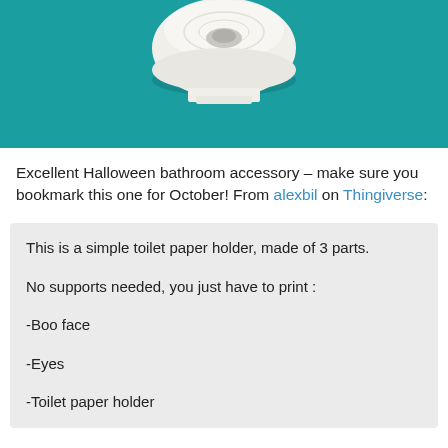[Figure (photo): A white toilet paper roll sitting on a teal/turquoise surface, photographed from above, showing the top of the roll.]
Excellent Halloween bathroom accessory – make sure you bookmark this one for October! From alexbil on Thingiverse:
This is a simple toilet paper holder, made of 3 parts.

No supports needed, you just have to print :

-Boo face

-Eyes

-Toilet paper holder